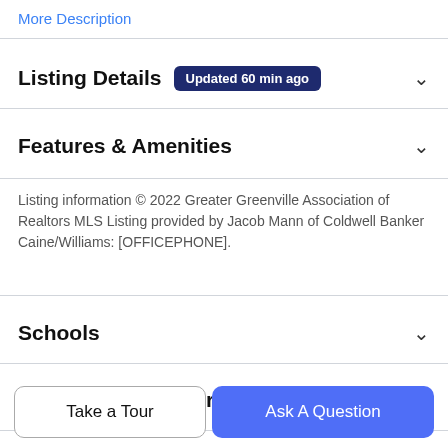More Description
Listing Details
Features & Amenities
Listing information © 2022 Greater Greenville Association of Realtors MLS Listing provided by Jacob Mann of Coldwell Banker Caine/Williams: [OFFICEPHONE].
Schools
Payment Calculator
Contact Agent
Take a Tour
Ask A Question